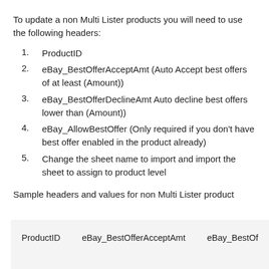To update a non Multi Lister products you will need to use the following headers:
1. ProductID
2. eBay_BestOfferAcceptAmt (Auto Accept best offers of at least (Amount))
3. eBay_BestOfferDeclineAmt Auto decline best offers lower than (Amount))
4. eBay_AllowBestOffer (Only required if you don't have best offer enabled in the product already)
5. Change the sheet name to import and import the sheet to assign to product level
Sample headers and values for non Multi Lister product
| ProductID | eBay_BestOfferAcceptAmt | eBay_BestOf... |
| --- | --- | --- |